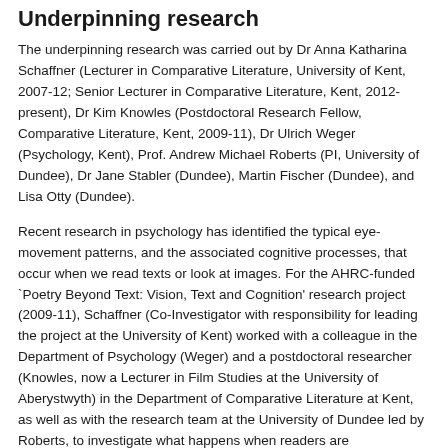Underpinning research
The underpinning research was carried out by Dr Anna Katharina Schaffner (Lecturer in Comparative Literature, University of Kent, 2007-12; Senior Lecturer in Comparative Literature, Kent, 2012-present), Dr Kim Knowles (Postdoctoral Research Fellow, Comparative Literature, Kent, 2009-11), Dr Ulrich Weger (Psychology, Kent), Prof. Andrew Michael Roberts (PI, University of Dundee), Dr Jane Stabler (Dundee), Martin Fischer (Dundee), and Lisa Otty (Dundee).
Recent research in psychology has identified the typical eye-movement patterns, and the associated cognitive processes, that occur when we read texts or look at images. For the AHRC-funded `Poetry Beyond Text: Vision, Text and Cognition' research project (2009-11), Schaffner (Co-Investigator with responsibility for leading the project at the University of Kent) worked with a colleague in the Department of Psychology (Weger) and a postdoctoral researcher (Knowles, now a Lecturer in Film Studies at the University of Aberystwyth) in the Department of Comparative Literature at Kent, as well as with the research team at the University of Dundee led by Roberts, to investigate what happens when readers are